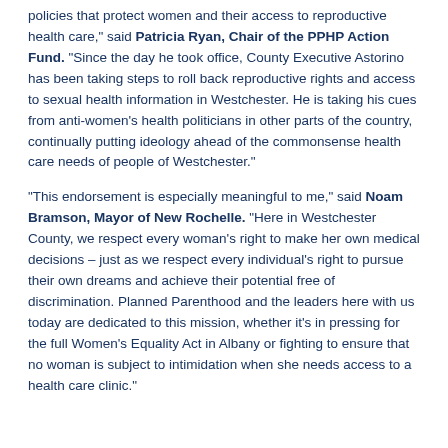policies that protect women and their access to reproductive health care," said Patricia Ryan, Chair of the PPHP Action Fund. "Since the day he took office, County Executive Astorino has been taking steps to roll back reproductive rights and access to sexual health information in Westchester. He is taking his cues from anti-women's health politicians in other parts of the country, continually putting ideology ahead of the commonsense health care needs of people of Westchester."
"This endorsement is especially meaningful to me," said Noam Bramson, Mayor of New Rochelle. "Here in Westchester County, we respect every woman's right to make her own medical decisions – just as we respect every individual's right to pursue their own dreams and achieve their potential free of discrimination. Planned Parenthood and the leaders here with us today are dedicated to this mission, whether it's in pressing for the full Women's Equality Act in Albany or fighting to ensure that no woman is subject to intimidation when she needs access to a health care clinic."